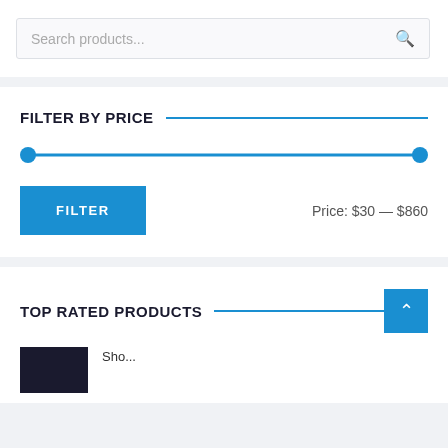Search products...
FILTER BY PRICE
[Figure (other): Price range slider from $30 to $860 with two blue circular handles on a blue track]
FILTER
Price: $30 — $860
TOP RATED PRODUCTS
[Figure (other): Black thumbnail image of a product]